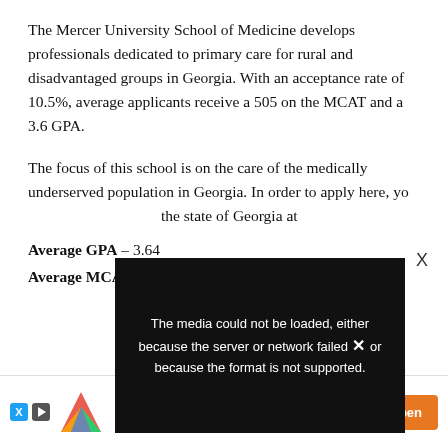The Mercer University School of Medicine develops professionals dedicated to primary care for rural and disadvantaged groups in Georgia. With an acceptance rate of 10.5%, average applicants receive a 505 on the MCAT and a 3.6 GPA.
The focus of this school is on the care of the medically underserved population in Georgia. In order to apply here, you must be a resident of the state of Georgia at
Average GPA – 3.64
Average MCAT – 28
[Figure (other): Media error overlay: black box with white text reading 'The media could not be loaded, either because the server or network failed or because the format is not supported.' with an X icon overlaid.]
[Figure (other): Advertisement banner for PharmaLex US - PharmaLex Medical Devices with colorful logo, purple text, and orange Open button.]